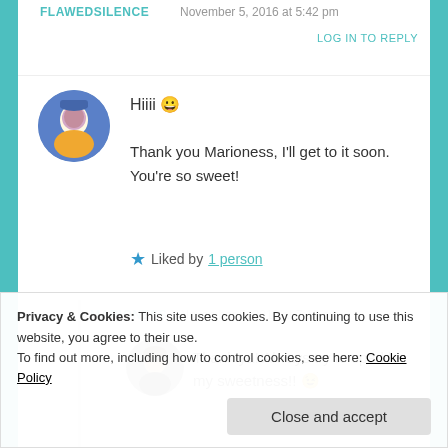FLAWEDSILENCE   November 5, 2016 at 5:42 pm
LOG IN TO REPLY
Hiiii 😀
Thank you Marioness, I'll get to it soon. You're so sweet!
★ Liked by 1 person
MARIONESS   November 5, 2016 at 7:19 pm
Thank ya! Always try to sparkle my sweetness!! 😉
Privacy & Cookies: This site uses cookies. By continuing to use this website, you agree to their use.
To find out more, including how to control cookies, see here: Cookie Policy
Close and accept